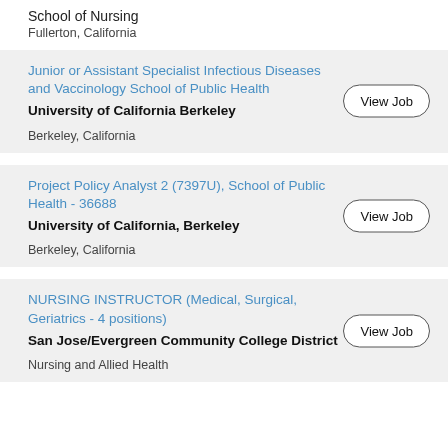School of Nursing
Fullerton, California
Junior or Assistant Specialist Infectious Diseases and Vaccinology School of Public Health
University of California Berkeley
Berkeley, California
Project Policy Analyst 2 (7397U), School of Public Health - 36688
University of California, Berkeley
Berkeley, California
NURSING INSTRUCTOR (Medical, Surgical, Geriatrics - 4 positions)
San Jose/Evergreen Community College District
Nursing and Allied Health